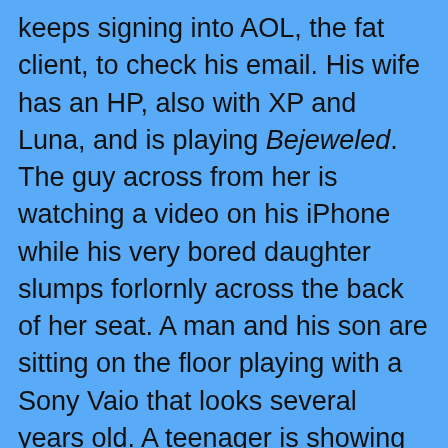keeps signing into AOL, the fat client, to check his email. His wife has an HP, also with XP and Luna, and is playing Bejeweled. The guy across from her is watching a video on his iPhone while his very bored daughter slumps forlornly across the back of her seat. A man and his son are sitting on the floor playing with a Sony Vaio that looks several years old. A teenager is showing his mother how to charge her iPhone with the USB terminals. The two guys behind me are playing with their BlackBerry and LG iPhoneClone.

Like ripples in a pond, beyond tha  Dark Mode: Off